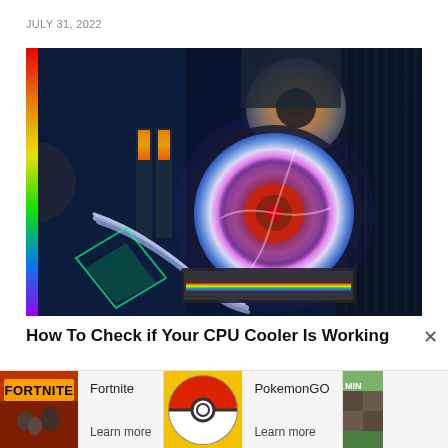JULY 31, 2022
[Figure (photo): RGB gaming PC interior with colorful LED fans, RAM sticks, cables, and cooling components illuminated with rainbow lighting]
How To Check if Your CPU Cooler Is Working
[Figure (photo): Fortnite game cover art showing characters]
Fortnite
Learn more
[Figure (photo): Pokemon GO Pokeball logo]
PokemonGO
Learn more
[Figure (photo): Minecraft game cover art - partially visible]